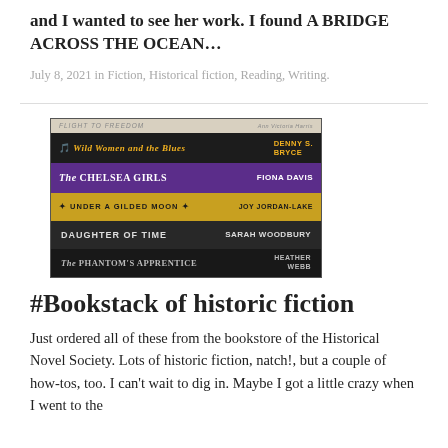and I wanted to see her work. I found A BRIDGE ACROSS THE OCEAN…
July 8, 2021 in Fiction, Historical fiction, Reading, Writing.
[Figure (photo): A stack of historical fiction books photographed from the side showing their spines, including Wild Women and the Blues by Denny S. Bryce, The Chelsea Girls by Fiona Davis, Under a Gilded Moon by Joy Jordan-Lake, Daughter of Time by Sarah Woodbury, and The Phantom's Apprentice by Heather Webb, with Flight to Freedom visible at the top.]
#Bookstack of historic fiction
Just ordered all of these from the bookstore of the Historical Novel Society. Lots of historic fiction, natch!, but a couple of how-tos, too. I can't wait to dig in. Maybe I got a little crazy when I went to the